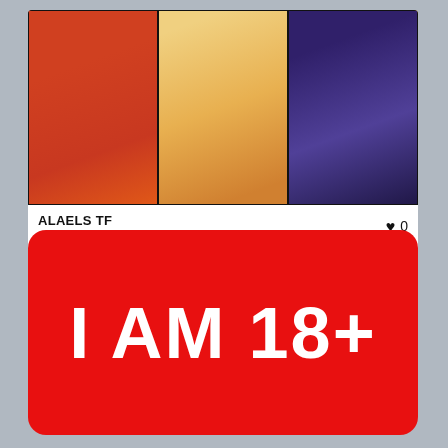[Figure (illustration): Comic strip panels showing animated catgirl character in three panels with colored backgrounds]
ALAELS TF
catgirl / kemonomimi
♥ 0  👁 167  02/03/2021
[Figure (infographic): Red rounded rectangle button with white bold text reading 'I AM 18+']